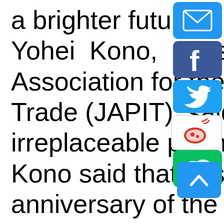a brighter future. Yohei Kono, president of the Association for the Promotion of Trade (JAPIT), said that China is an irreplaceable partner of the world. Kono said that this year marks the anniversary of the normalization of relations between Japan and China. CCPIT has made great
[Figure (infographic): Social media share icons: Email (blue), Facebook (dark blue), Twitter (light blue), Weibo (white/red), WeChat (green); and a scroll-to-top button (blue with caret)]